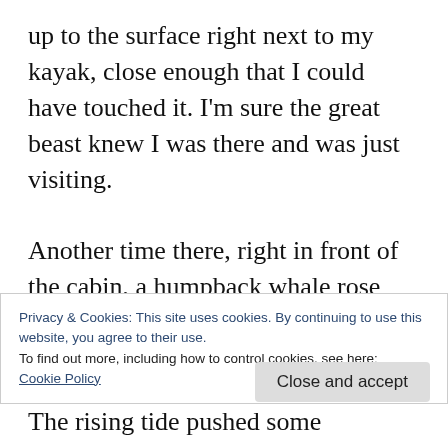up to the surface right next to my kayak, close enough that I could have touched it. I'm sure the great beast knew I was there and was just visiting.

Another time there, right in front of the cabin, a humpback whale rose straight up with its mouth wide open, engulfing a dinner of herring. Escaping fish cascaded down from both sides of the mouth, a glittering stream (like liquid mercury, said one observer) in the
Privacy & Cookies: This site uses cookies. By continuing to use this website, you agree to their use.
To find out more, including how to control cookies, see here:
Cookie Policy
Close and accept
The rising tide pushed some oystercatchers up